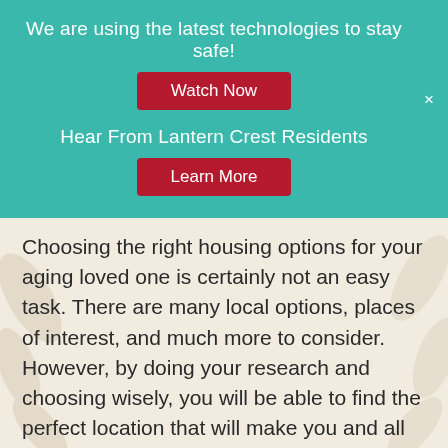We are using the latest technologies to stay safe!
Watch Now
Hear From Lantern Crest Residents
Learn More
×
Choosing the right housing options for your aging loved one is certainly not an easy task. There are many local options, places of interest, and much more to consider. However, by doing your research and choosing wisely, you will be able to find the perfect location that will make you and all of your family members happy. It will bring peace of mind to everyone and your aging family member will enjoy a happier, higher-